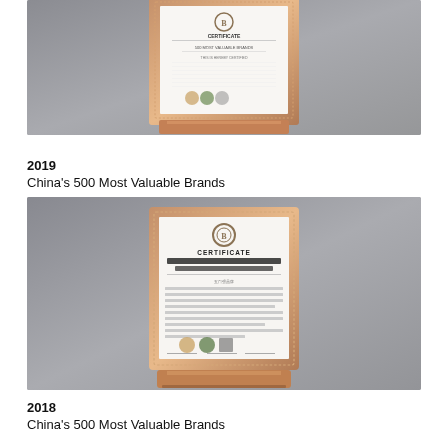[Figure (photo): Photo of a framed certificate plaque for China's 500 Most Valuable Brands award, displayed on a wooden stand with ornate copper/bronze frame. Partial top crop.]
2019
China's 500 Most Valuable Brands
[Figure (photo): Photo of a framed certificate plaque for 2019 China's 500 Most Valuable Brands award. The certificate reads 'CERTIFICATE' at top with a circular emblem, followed by Chinese and English text, logos at bottom. Displayed on a wooden stand with ornate copper/bronze frame against gray background.]
2018
China's 500 Most Valuable Brands